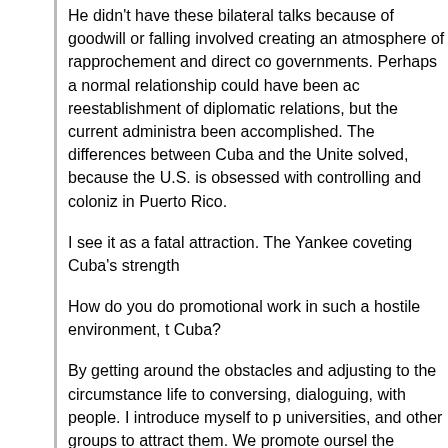He didn't have these bilateral talks because of goodwill or falling involved creating an atmosphere of rapprochement and direct co governments. Perhaps a normal relationship could have been ac reestablishment of diplomatic relations, but the current administra been accomplished. The differences between Cuba and the Unite solved, because the U.S. is obsessed with controlling and coloniz in Puerto Rico.
I see it as a fatal attraction. The Yankee coveting Cuba's strength
How do you do promotional work in such a hostile environment, t Cuba?
By getting around the obstacles and adjusting to the circumstance life to conversing, dialoguing, with people. I introduce myself to p universities, and other groups to attract them. We promote oursel the experiences of those who have visited Cuba, since they are a
Many people come with an unfounded fear of Communism. They opinions, thinking they will be strictly supervised and constantly w there is no freedom to walk the streets.
I explain that it is a place with a functioning socialist system, ver